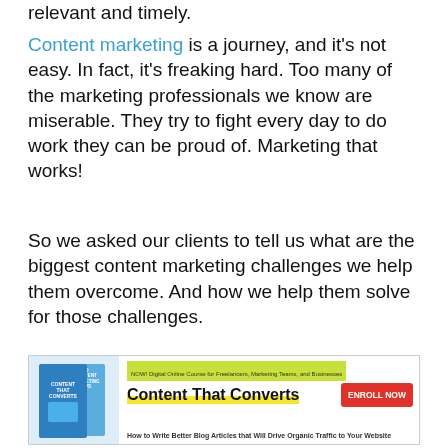relevant and timely.
Content marketing is a journey, and it’s not easy. In fact, it’s freaking hard. Too many of the marketing professionals we know are miserable. They try to fight every day to do work they can be proud of. Marketing that works!
So we asked our clients to tell us what are the biggest content marketing challenges we help them overcome. And how we help them solve for those challenges.
[Figure (infographic): Advertisement banner for 'Content That Converts' digital online course for freelancers, marketing teams, and businesses. Shows book cover image on left, course title in bold with yellow underline highlight, red 'ENROLL NOW' button, and subtitle 'How to Write Better Blog Articles that Will Drive Organic Traffic to Your Website'.]
The insights below represent what we hear from our clients, the content marketing